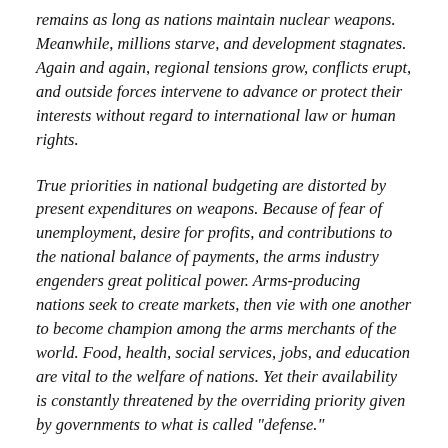remains as long as nations maintain nuclear weapons. Meanwhile, millions starve, and development stagnates. Again and again, regional tensions grow, conflicts erupt, and outside forces intervene to advance or protect their interests without regard to international law or human rights.
True priorities in national budgeting are distorted by present expenditures on weapons. Because of fear of unemployment, desire for profits, and contributions to the national balance of payments, the arms industry engenders great political power. Arms-producing nations seek to create markets, then vie with one another to become champion among the arms merchants of the world. Food, health, social services, jobs, and education are vital to the welfare of nations. Yet their availability is constantly threatened by the overriding priority given by governments to what is called "defense."